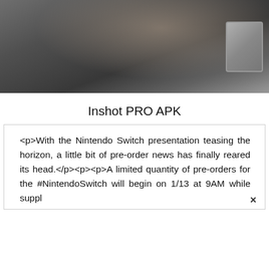[Figure (photo): Blurred anime/illustration screenshot showing a dark figure, possibly a character, with a card or device visible in the lower right corner. Dark gray tones dominate.]
Inshot PRO APK
<p>With the Nintendo Switch presentation teasing the horizon, a little bit of pre-order news has finally reared its head.</p><p><p>A limited quantity of pre-orders for the #NintendoSwitch will begin on 1/13 at 9AM while suppl ×